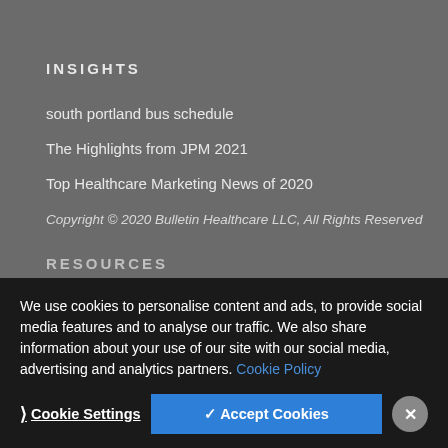INSIGHTS
south portland bus schedule
The Highlights from JPM 2021
Top Healthcare Marketing News of 2020
Copyright © 2020 Bulletin Healthcare LLC, All Rights Reserved
RESOURCES
We use cookies to personalise content and ads, to provide social media features and to analyse our traffic. We also share information about your use of our site with our social media, advertising and analytics partners. Cookie Policy
Cookie Settings
✓ Accept Cookies